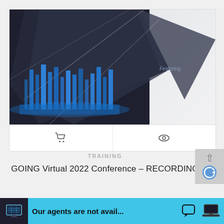[Figure (screenshot): A screenshot of a training course card for 'GOING Virtual 2022 Conference – RECORDING'. The card contains a dark geometric crystal/diamond shape with blue holographic cityscape overlay on the left side, and a light gray area with italic 'Featuring' text on the right. Below the image are a shopping cart icon and an eye icon. Below the card: 'TRAINING' label and the conference title. An reCAPTCHA widget appears top right of the lower section. A teal chat bar at the bottom reads 'Our agents are not avail...' with icons.]
TRAINING
GOING Virtual 2022 Conference – RECORDING
Our agents are not avail...